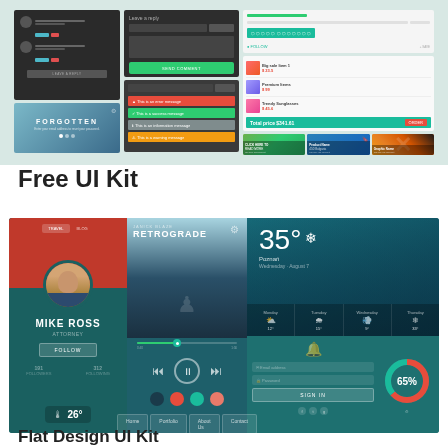[Figure (screenshot): Top collage of UI components including dark social feed, forgotten password screen, form modals, alert bars, shopping cart panel, and photo cards on light gray background]
Free UI Kit
[Figure (screenshot): Free UI Kit showcase with profile card (Mike Ross), music player (Retrograde), weather widget showing 35° Poznan, login form with 65% donut chart, color palette dots, and navigation tabs, all on teal background]
Flat Design UI Kit